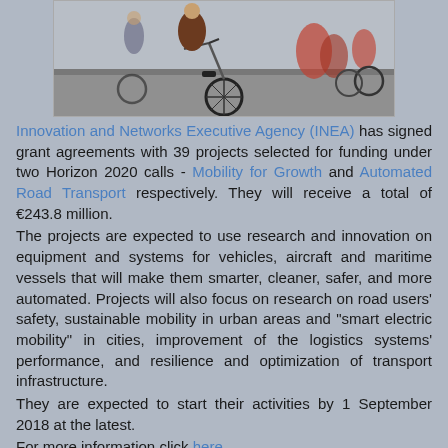[Figure (photo): Photo of cyclists/bicycles on a road, partially visible at top of page]
Innovation and Networks Executive Agency (INEA) has signed grant agreements with 39 projects selected for funding under two Horizon 2020 calls - Mobility for Growth and Automated Road Transport respectively. They will receive a total of €243.8 million.
The projects are expected to use research and innovation on equipment and systems for vehicles, aircraft and maritime vessels that will make them smarter, cleaner, safer, and more automated. Projects will also focus on research on road users' safety, sustainable mobility in urban areas and "smart electric mobility" in cities, improvement of the logistics systems' performance, and resilience and optimization of transport infrastructure.
They are expected to start their activities by 1 September 2018 at the latest.
For more information click here
Xenofon Pasoulas στις 18:15   No comments: